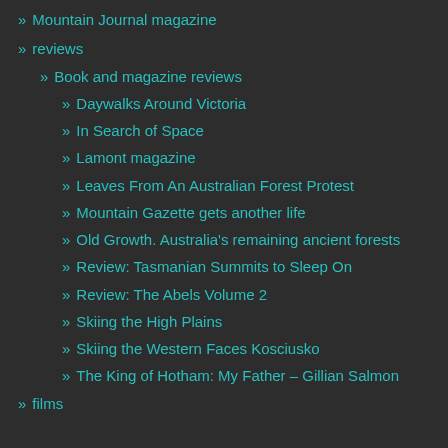Mountain Journal magazine
reviews
Book and magazine reviews
Daywalks Around Victoria
In Search of Space
Lamont magazine
Leaves From An Australian Forest Protest
Mountain Gazette gets another life
Old Growth. Australia's remaining ancient forests
Review: Tasmanian Summits to Sleep On
Review: The Abels Volume 2
Skiing the High Plains
Skiing the Western Faces Kosciusko
The King of Hotham: My Father – Gillian Salmon
films